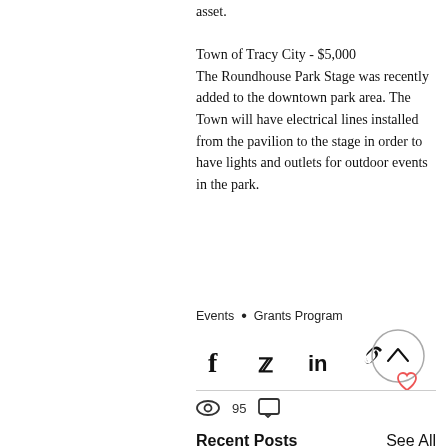asset.
Town of Tracy City - $5,000
The Roundhouse Park Stage was recently added to the downtown park area. The Town will have electrical lines installed from the pavilion to the stage in order to have lights and outlets for outdoor events in the park.
Events • Grants Program
[Figure (infographic): Social share icons: Facebook, Twitter, LinkedIn, Link/chain icon; scroll-to-top circle button and heart/like icon]
95 views, 0 comments
Recent Posts
See All
[Figure (photo): Thumbnail photos for recent posts at the bottom of the page]